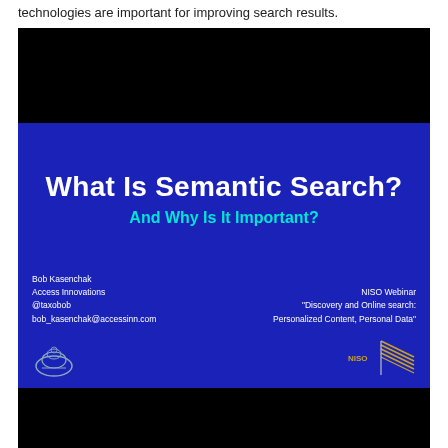technologies are important for improving search results.
[Figure (screenshot): Presentation slide titled 'What Is Semantic Search? And Why Is It Important?' by Bob Kasenchak, Access Innovations. NISO Webinar 'Discovery and Online search: Personalized Content, Personal Data'. Blue background with white and cyan text, logos at bottom.]